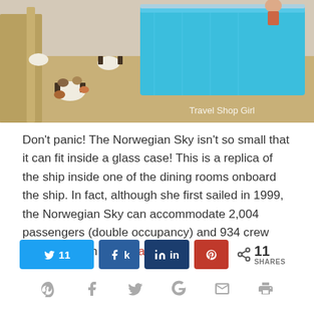[Figure (photo): Aerial view of cruise ship deck with pool, lounge chairs, tables, and passengers. Watermark reads 'Travel Shop Girl'.]
Don't panic!  The Norwegian Sky isn't so small that it can fit inside a glass case!  This is a replica of the ship inside one of the dining rooms onboard the ship.  In fact, although she first sailed in 1999, the Norwegian Sky can accommodate 2,004 passengers (double occupancy) and 934 crew members with a...  Read More
[Figure (infographic): Social share buttons: Twitter (11 shares), Facebook, LinkedIn, Pinterest, and a total share count of 11 SHARES. Below: icon row with Pinterest, Facebook, Twitter, Google+, email, and print icons.]